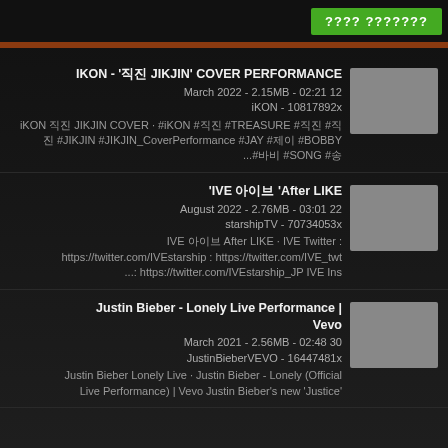???? ???????
IKON - '직진 JIKJIN' COVER PERFORMANCE
March 2022 - 2.15MB - 02:21 12
iKON - 10817892x
iKON 직진 JIKJIN COVER · #iKON #직진 #TREASURE #직진 #직진 #JIKJIN #JIKJIN_CoverPerformance #JAY #제이 #BOBBY ...#바비 #SONG #송
'IVE 아이브 'After LIKE
August 2022 - 2.76MB - 03:01 22
starshipTV - 70734053x
IVE 아이브 After LIKE · IVE Twitter : https://twitter.com/IVEstarship : https://twitter.com/IVE_twt ...: https://twitter.com/IVEstarship_JP IVE Ins
Justin Bieber - Lonely Live Performance | Vevo
March 2021 - 2.56MB - 02:48 30
JustinBieberVEVO - 16447481x
Justin Bieber Lonely Live · Justin Bieber - Lonely (Official Live Performance) | Vevo Justin Bieber's new 'Justice'